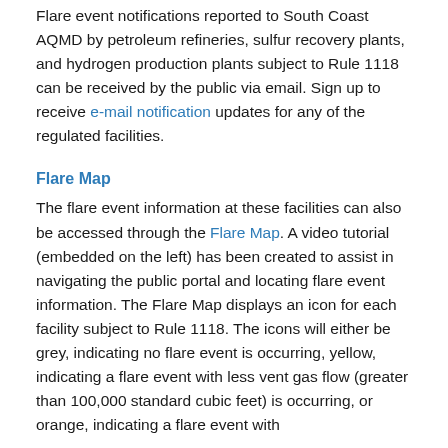Flare event notifications reported to South Coast AQMD by petroleum refineries, sulfur recovery plants, and hydrogen production plants subject to Rule 1118 can be received by the public via email. Sign up to receive e-mail notification updates for any of the regulated facilities.
Flare Map
The flare event information at these facilities can also be accessed through the Flare Map. A video tutorial (embedded on the left) has been created to assist in navigating the public portal and locating flare event information. The Flare Map displays an icon for each facility subject to Rule 1118. The icons will either be grey, indicating no flare event is occurring, yellow, indicating a flare event with less vent gas flow (greater than 100,000 standard cubic feet) is occurring, or orange, indicating a flare event with